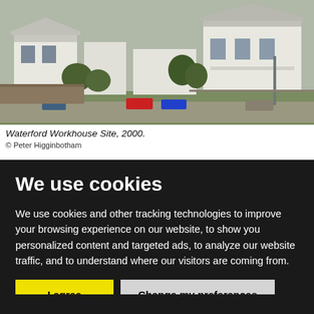[Figure (photo): Photograph of the Waterford Workhouse Site taken in 2000, showing white-painted buildings, parked cars, a road, green grass and trees in a rural/suburban setting.]
Waterford Workhouse Site, 2000.
© Peter Higginbotham
We use cookies
We use cookies and other tracking technologies to improve your browsing experience on our website, to show you personalized content and targeted ads, to analyze our website traffic, and to understand where our visitors are coming from.
I agree | Change my preferences